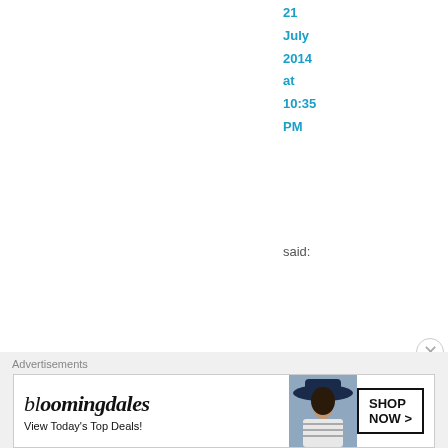21 July 2014 at 10:35 PM
said:
That is wonderful news, Mat
[Figure (other): Bloomingdale's advertisement banner: 'View Today's Top Deals!' with model in hat and SHOP NOW button]
Advertisements